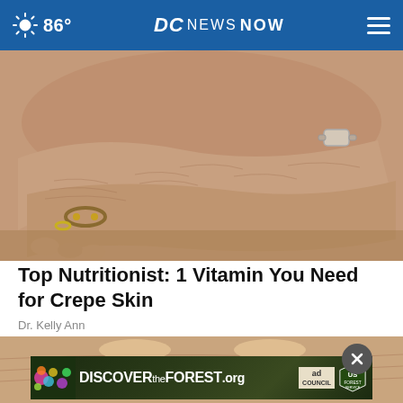86° DC NEWS NOW
[Figure (photo): Close-up photograph of elderly person's wrinkled arms resting on a surface, with a gold bracelet visible on the wrist.]
Top Nutritionist: 1 Vitamin You Need for Crepe Skin
Dr. Kelly Ann
[Figure (photo): Partial view of an elderly person's face/forehead area, partially obscured by an advertisement overlay.]
[Figure (other): DISCOVERtheFOREST.org advertisement banner with ad council and US Forest Service logos. Close (X) button visible.]